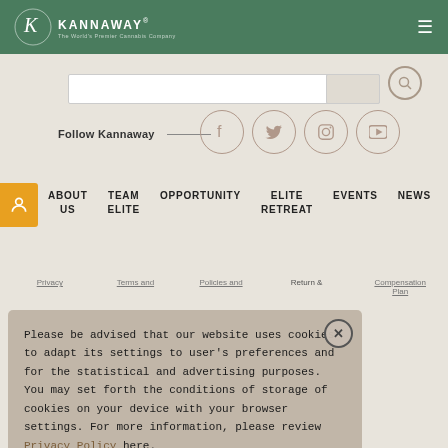KANNAWAY — The World's Premier Cannabis Company
Follow Kannaway
[Figure (screenshot): Four social media icons in circles: Facebook, Twitter, Instagram, YouTube]
ABOUT US  TEAM ELITE  OPPORTUNITY  ELITE RETREAT  EVENTS  NEWS
Privacy  Terms and  Policies and  Return &  Compensation Plan
Please be advised that our website uses cookies to adapt its settings to user's preferences and for the statistical and advertising purposes. You may set forth the conditions of storage of cookies on your device with your browser settings. For more information, please review Privacy Policy here.